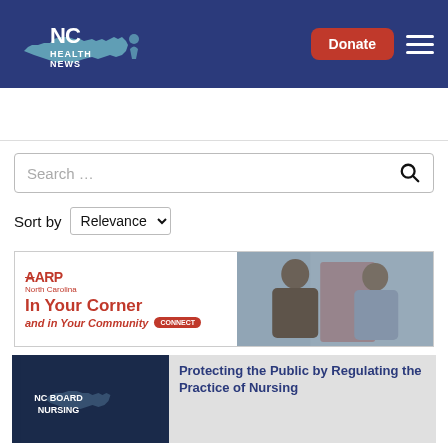[Figure (logo): NC Health News logo on dark navy blue header background]
Donate
Search …
Sort by Relevance
[Figure (photo): AARP North Carolina advertisement: 'In Your Corner and in Your Community' with a CONNECT button, showing two men smiling outdoors]
Protecting the Public by Regulating the Practice of Nursing